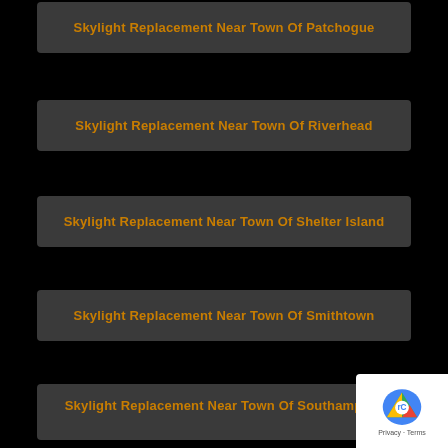Skylight Replacement Near Town Of Patchogue
Skylight Replacement Near Town Of Riverhead
Skylight Replacement Near Town Of Shelter Island
Skylight Replacement Near Town Of Smithtown
Skylight Replacement Near Town Of Southampton
Skylight Replacement Near Town Of Westbury
Skylight Replacement Near Thomaston
Skylight Replacement Near Uniondale